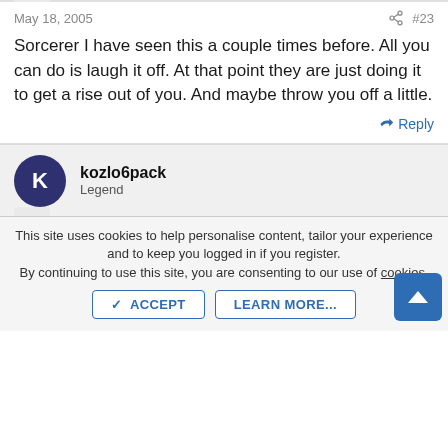May 18, 2005  #23
Sorcerer I have seen this a couple times before. All you can do is laugh it off. At that point they are just doing it to get a rise out of you. And maybe throw you off a little.
Reply
kozlo6pack
Legend
May 18, 2005  #24
I haven't seen that one yet, but I do see people saying Ty to "no one" as no one has said gh or nh or anything.....Its a bit
This site uses cookies to help personalise content, tailor your experience and to keep you logged in if you register.
By continuing to use this site, you are consenting to our use of cookies.
ACCEPT   LEARN MORE...